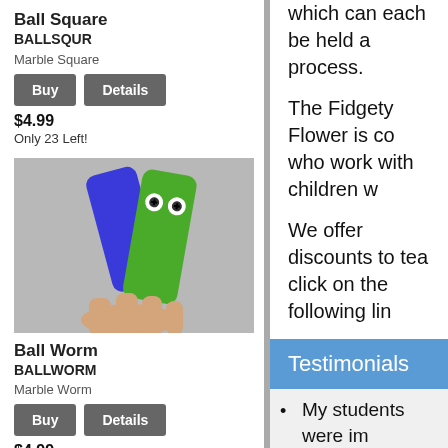Ball Square
BALLSQUR
Marble Square
Buy   Details
$4.99
Only 23 Left!
[Figure (photo): Hand holding two finger puppets — a blue rectangular one and a green rectangular one with googly eyes]
Ball Worm
BALLWORM
Marble Worm
Buy   Details
$4.99
Only 14 Left!
which can each be held a process.
The Fidgety Flower is co who work with children w
We offer discounts to tea click on the following lin
Testimonials
My students were im these fidgets. I love class. - Teacher
I like that all the cho
My students love the anxiety/stress issues